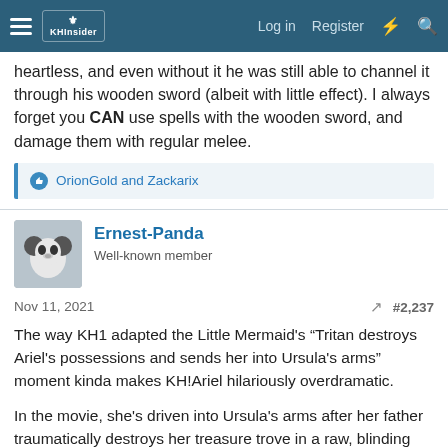KHInsider forum navigation bar with Log in, Register links
heartless, and even without it he was still able to channel it through his wooden sword (albeit with little effect). I always forget you CAN use spells with the wooden sword, and damage them with regular melee.
OrionGold and Zackarix
Ernest-Panda
Well-known member
Nov 11, 2021  #2,237
The way KH1 adapted the Little Mermaid's “Tritan destroys Ariel's possessions and sends her into Ursula's arms” moment kinda makes KH!Ariel hilariously overdramatic.
In the movie, she's driven into Ursula's arms after her father traumatically destroys her treasure trove in a raw, blinding rage. In KH1, it was because he casually destroyed a random trinket